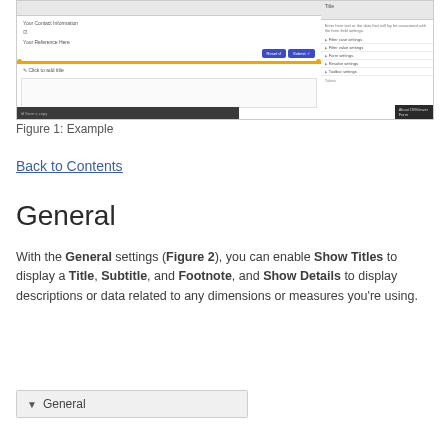[Figure (screenshot): Screenshot of a form builder UI showing a form editing area with orange selection handles, a submit/reset button row, a dark bottom toolbar, and a right sidebar with settings options including 'Filter case settings', 'Form settings', 'Resolve settings', 'Toolbar settings', and a 'Tubes' section with 'About DBViewer Form' at the bottom.]
Figure 1: Example
Back to Contents
General
With the General settings (Figure 2), you can enable Show Titles to display a Title, Subtitle, and Footnote, and Show Details to display descriptions or data related to any dimensions or measures you're using.
[Figure (screenshot): Partial screenshot showing a 'General' settings panel with a dropdown arrow, within a form settings UI.]